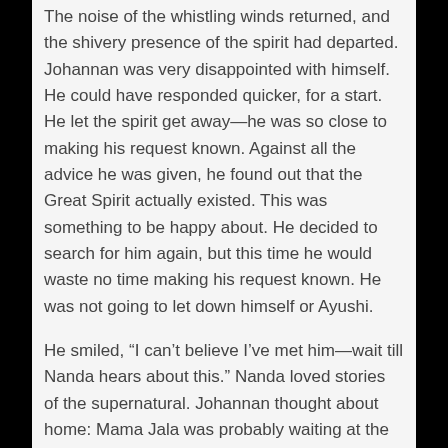The noise of the whistling winds returned, and the shivery presence of the spirit had departed. Johannan was very disappointed with himself. He could have responded quicker, for a start. He let the spirit get away—he was so close to making his request known. Against all the advice he was given, he found out that the Great Spirit actually existed. This was something to be happy about. He decided to search for him again, but this time he would waste no time making his request known. He was not going to let down himself or Ayushi.
He smiled, “I can't believe I’ve met him—wait till Nanda hears about this.” Nanda loved stories of the supernatural. Johannan thought about home: Mama Jala was probably waiting at the village gates for his return, ready to ambush him as soon as his shadow reached the entrance. “She can't do that now. Not when I return with the cure for Ayushi’s blindness. She'll be happy that I left to begin with.”